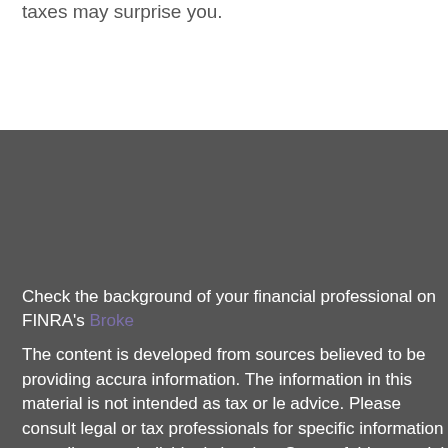taxes may surprise you.
Check the background of your financial professional on FINRA's Broke
The content is developed from sources believed to be providing accura information. The information in this material is not intended as tax or le advice. Please consult legal or tax professionals for specific information regarding your individual situation. Some of this material was develope produced by FMG Suite to provide information on a topic that may be c FMG Suite is not affiliated with the named representative, broker - dea or SEC - registered investment advisory firm. The opinions expressed a material provided are for general information, and should not be consid solicitation for the purchase or sale of any security.
We take protecting your data and privacy very seriously. As of January the California Consumer Privacy Act (CCPA) suggests the following extra measure to safeguard your data: Do not sell my personal infor